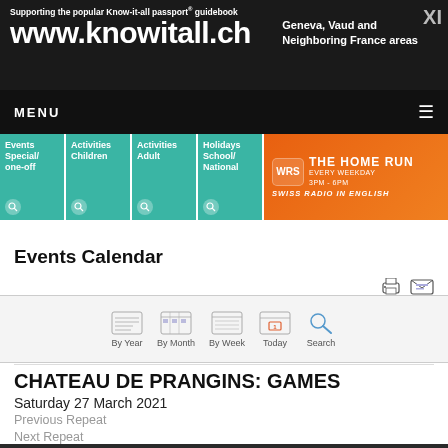Supporting the popular Know-it-all passport® guidebook www.knowitall.ch Geneva, Vaud and Neighboring France areas
MENU
[Figure (screenshot): Navigation category buttons: Events Special/one-off, Activities Children, Activities Adult, Holidays School/National, and WRS The Home Run radio ad]
Events Calendar
[Figure (screenshot): Calendar navigation icons: By Year, By Month, By Week, Today, Search]
CHATEAU DE PRANGINS: GAMES
Saturday 27 March 2021
Previous Repeat
Next Repeat